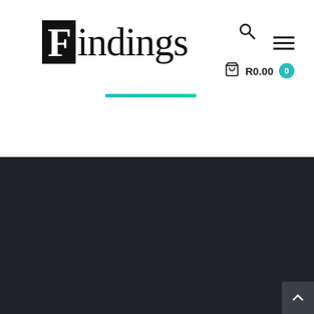[Figure (logo): Findings jewellery store logo with black block for F and serif text]
R0.00 0
Useful info
Findings
Findings jewellery store is the ultimate shopping destination for the most sought after, fashionable international watch and jewellery brands.